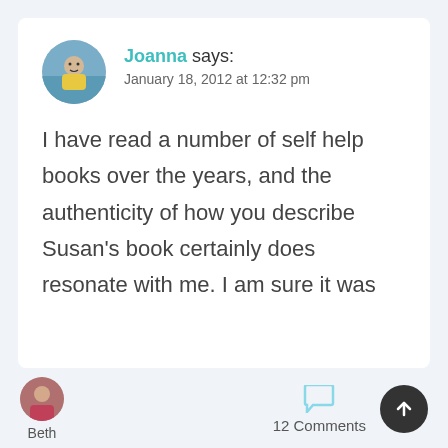Joanna says: January 18, 2012 at 12:32 pm
I have read a number of self help books over the years, and the authenticity of how you describe Susan’s book certainly does resonate with me. I am sure it was
[Figure (photo): Circular avatar photo of Beth]
Beth
12 Comments